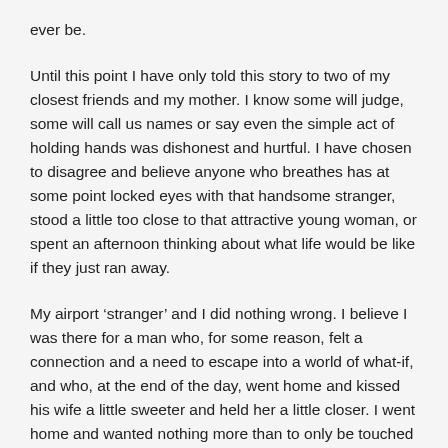ever be.
Until this point I have only told this story to two of my closest friends and my mother. I know some will judge, some will call us names or say even the simple act of holding hands was dishonest and hurtful. I have chosen to disagree and believe anyone who breathes has at some point locked eyes with that handsome stranger, stood a little too close to that attractive young woman, or spent an afternoon thinking about what life would be like if they just ran away.
My airport ‘stranger’ and I did nothing wrong. I believe I was there for a man who, for some reason, felt a connection and a need to escape into a world of what-if, and who, at the end of the day, went home and kissed his wife a little sweeter and held her a little closer. I went home and wanted nothing more than to only be touched by one man for the next fourteen years.